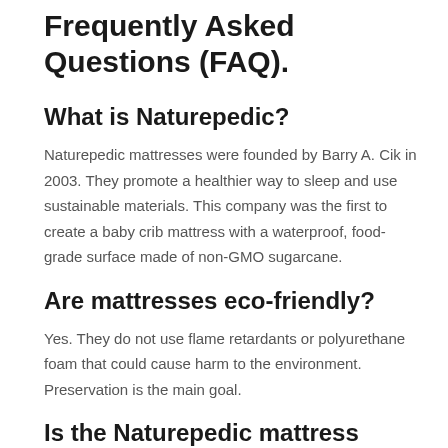Frequently Asked Questions (FAQ).
What is Naturepedic?
Naturepedic mattresses were founded by Barry A. Cik in 2003. They promote a healthier way to sleep and use sustainable materials. This company was the first to create a baby crib mattress with a waterproof, food-grade surface made of non-GMO sugarcane.
Are mattresses eco-friendly?
Yes. They do not use flame retardants or polyurethane foam that could cause harm to the environment. Preservation is the main goal.
Is the Naturepedic mattress compatible with a